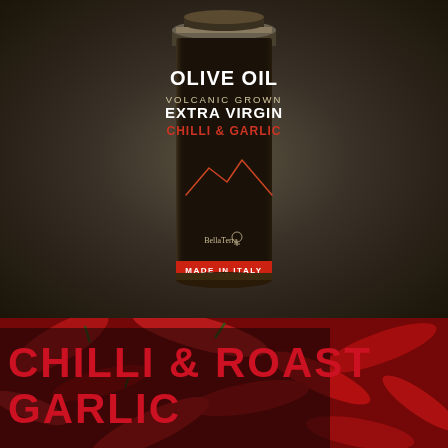[Figure (photo): A tall cylindrical dark tin/can of BellaTerra Olive Oil - Volcanic Grown Extra Virgin Chilli & Garlic, photographed against a dark brown/khaki gradient background. The tin is black with gold/white text reading 'OLIVE OIL VOLCANIC GROWN EXTRA VIRGIN' and 'CHILLI & GARLIC' in red. A mountain line drawing is on the lower portion of the tin. The BellaTerra logo with a tree is visible, and a red band at the bottom reads 'MADE IN ITALY'.]
[Figure (photo): Close-up photograph of red chilli peppers forming a background image, with deep red and green tones. Overlaid with a dark semi-transparent box containing large red uppercase text reading 'CHILLI & ROAST GARLIC'.]
CHILLI & ROAST GARLIC